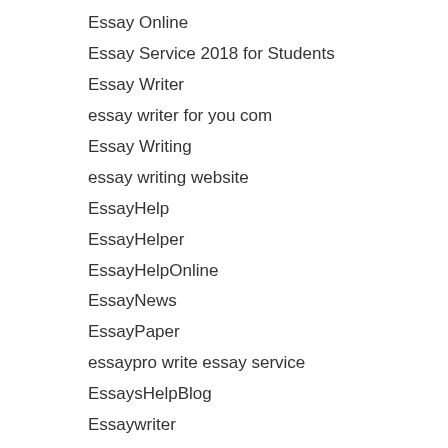Essay Online
Essay Service 2018 for Students
Essay Writer
essay writer for you com
Essay Writing
essay writing website
EssayHelp
EssayHelper
EssayHelpOnline
EssayNews
EssayPaper
essaypro write essay service
EssaysHelpBlog
Essaywriter
EssayWriterForYou